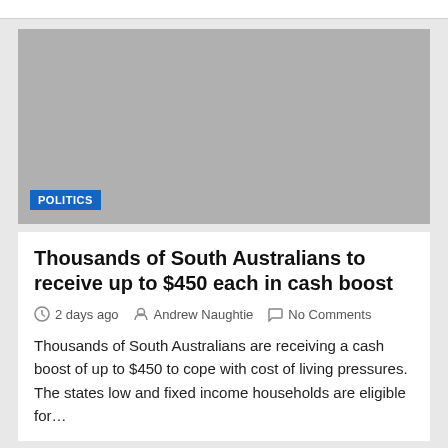[Figure (photo): Gray placeholder image with a blue POLITICS badge in the bottom left corner]
Thousands of South Australians to receive up to $450 each in cash boost
2 days ago  Andrew Naughtie  No Comments
Thousands of South Australians are receiving a cash boost of up to $450 to cope with cost of living pressures. The states low and fixed income households are eligible for…